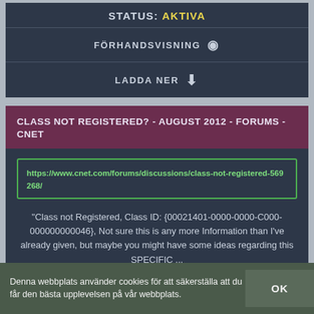STATUS: AKTIVA
FÖRHANDSVISNING
LADDA NER
CLASS NOT REGISTERED? - AUGUST 2012 - FORUMS - CNET
https://www.cnet.com/forums/discussions/class-not-registered-569268/
"Class not Registered, Class ID: {00021401-0000-0000-C000-000000000046}, Not sure this is any more Information than I've already given, but maybe you might have some ideas regarding this SPECIFIC ...
STATUS: AKTIVA
FÖRHANDSVISNING
Denna webbplats använder cookies för att säkerställa att du får den bästa upplevelsen på vår webbplats.